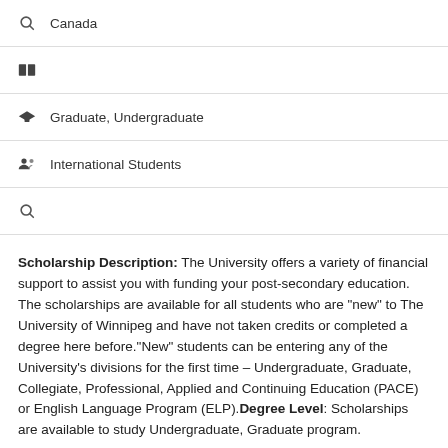Canada
(book icon)
Graduate, Undergraduate
International Students
(search icon)
Scholarship Description: The University offers a variety of financial support to assist you with funding your post-secondary education. The scholarships are available for all students who are "new" to The University of Winnipeg and have not taken credits or completed a degree here before."New" students can be entering any of the University's divisions for the first time – Undergraduate, Graduate, Collegiate, Professional, Applied and Continuing Education (PACE) or English Language Program (ELP).Degree Level: Scholarships are available to study Undergraduate, Graduate program.
Available Subject: Scholarships are available for Professional, Applied and Continuing Education (PACE) or English Language Program